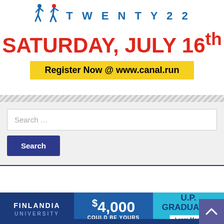[Figure (infographic): Event banner showing two runner silhouettes in blue and the text TWENTY 22, SATURDAY JULY 16th in red, and a yellow Register Now bar with www.canal.run]
[Figure (screenshot): Search box with placeholder text 'Search ...' and a dark blue Search button below it]
[Figure (infographic): Finlandia University advertisement banner showing $4,000 COULD BE YOURS for U.P. GRADUATES with Learn More button]